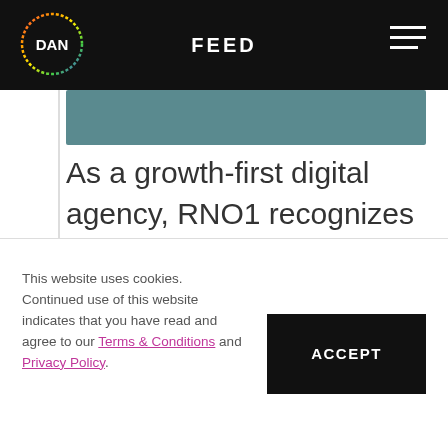DAN | FEED
[Figure (illustration): Teal/dark teal decorative image strip at top of article content]
As a growth-first digital agency, RNO1 recognizes that a growth attitude is critical for the modern brand across all strategies and solutions. They use agile thinking to guide game-changing companies across platforms and locations. They create digital platforms
This website uses cookies. Continued use of this website indicates that you have read and agree to our Terms & Conditions and Privacy Policy.